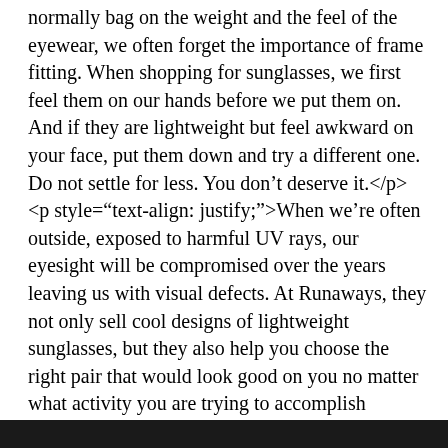normally bag on the weight and the feel of the eyewear, we often forget the importance of frame fitting. When shopping for sunglasses, we first feel them on our hands before we put them on. And if they are lightweight but feel awkward on your face, put them down and try a different one. Do not settle for less. You don&rsquo;t deserve it.</p> <p style="text-align: justify;">When we&rsquo;re often outside, exposed to harmful UV rays, our eyesight will be compromised over the years leaving us with visual defects. At Runaways, they not only sell cool designs of lightweight sunglasses, but they also help you choose the right pair that would look good on you no matter what activity you are trying to accomplish outdoors.</p>